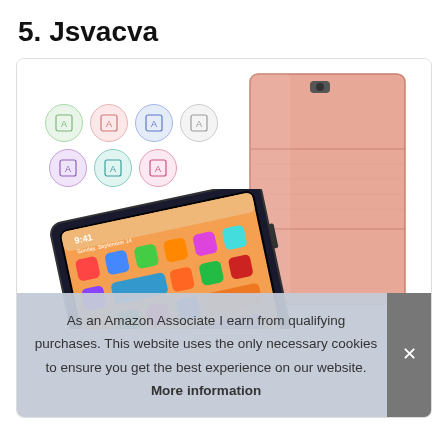5. Jsvacva
[Figure (photo): Product image of a Jsvacva iPad case in rose gold/pink color shown as a book-style folio cover, alongside an iPad displaying the iOS home screen at 9:41, with color variant circle icons showing available colors.]
As an Amazon Associate I earn from qualifying purchases. This website uses the only necessary cookies to ensure you get the best experience on our website. More information